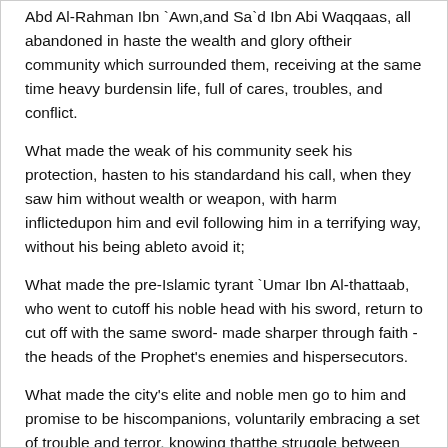Abd Al-Rahman Ibn `Awn,and Sa`d Ibn Abi Waqqaas, all abandoned in haste the wealth and glory oftheir community which surrounded them, receiving at the same time heavy burdensin life, full of cares, troubles, and conflict.
What made the weak of his community seek his protection, hasten to his standardand his call, when they saw him without wealth or weapon, with harm inflictedupon him and evil following him in a terrifying way, without his being ableto avoid it;
What made the pre-Islamic tyrant `Umar Ibn Al-thattaab, who went to cutoff his noble head with his sword, return to cut off with the same sword- made sharper through faith - the heads of the Prophet's enemies and hispersecutors.
What made the city's elite and noble men go to him and promise to be hiscompanions, voluntarily embracing a set of trouble and terror, knowing thatthe struggle between them and the Quraish would be more horrifying than terroritself.
What made those who believed in him increase and not decrease, though hedeclared day and night,"I hold no good or harm for you, I do not know whatwill become of me or you"!